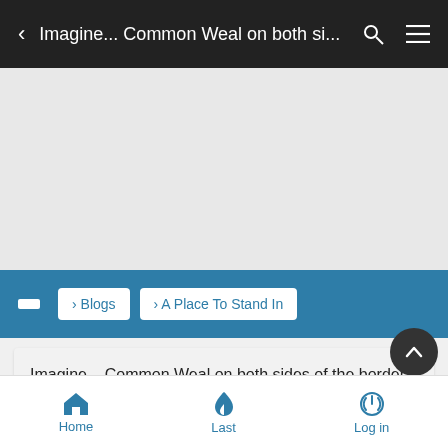< Imagine... Common Weal on both si...
[Figure (other): Gray advertisement placeholder area]
> Blogs  > A Place To Stand In
Imagine... Common Weal on both sides of the border
Thu Mar 13, 2014 10:56 pm
Home  Last  Log in